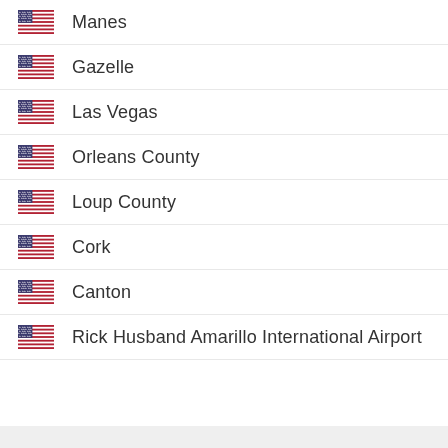Manes
Gazelle
Las Vegas
Orleans County
Loup County
Cork
Canton
Rick Husband Amarillo International Airport